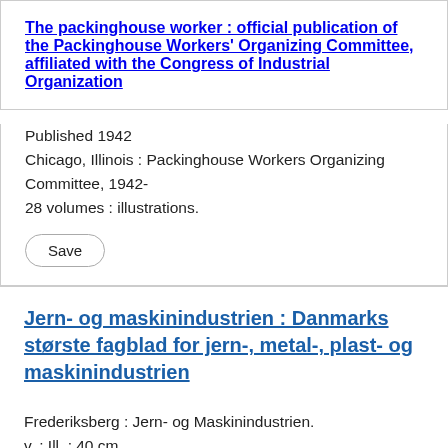The packinghouse worker : official publication of the Packinghouse Workers' Organizing Committee, affiliated with the Congress of Industrial Organization
Published 1942
Chicago, Illinois : Packinghouse Workers Organizing Committee, 1942-
28 volumes : illustrations.
Save
Jern- og maskinindustrien : Danmarks største fagblad for jern-, metal-, plast- og maskinindustrien
Frederiksberg : Jern- og Maskinindustrien.
v. : Ill. ; 40 cm.
Local Call Number: Loading...